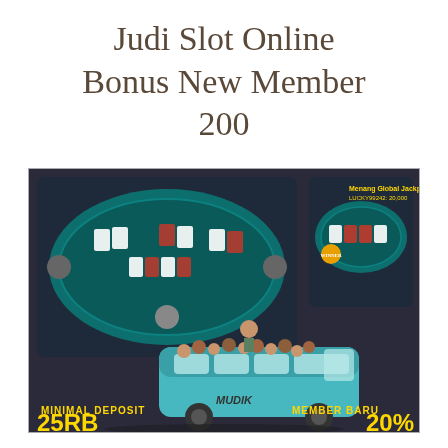Judi Slot Online Bonus New Member 200
[Figure (illustration): Online poker/card game screenshot showing two card game tables side by side, with a cartoon illustration of a crowded mudik bus in the foreground. Bottom left shows 'MINIMAL DEPOSIT 25RB' in yellow text and bottom right shows 'MEMBER BARU 20%' in yellow text, on a dark background.]